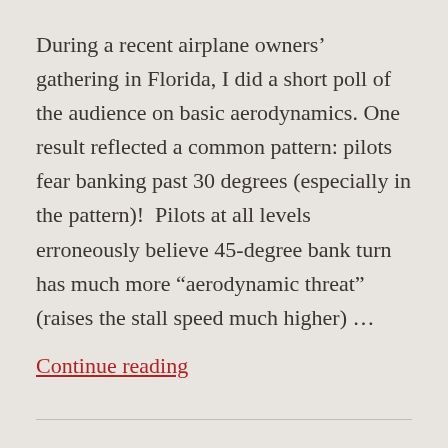During a recent airplane owners' gathering in Florida, I did a short poll of the audience on basic aerodynamics. One result reflected a common pattern: pilots fear banking past 30 degrees (especially in the pattern)!  Pilots at all levels erroneously believe 45-degree bank turn has much more “aerodynamic threat” (raises the stall speed much higher) ...
Continue reading